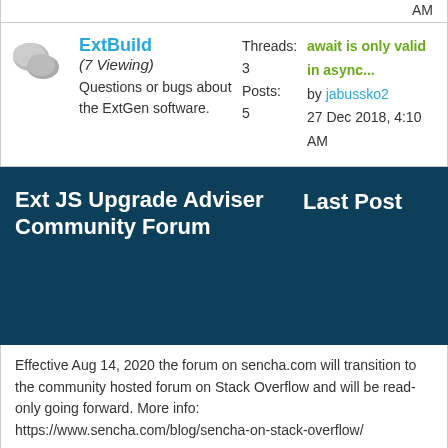AM
| ExtBuild (7 Viewing)
Questions or bugs about the ExtGen software. | Threads: 3
Posts: 5 | await is only valid in async...
by jabussko2
27 Dec 2018, 4:10 AM |
Ext JS Upgrade Adviser Community Forum
Effective Aug 14, 2020 the forum on sencha.com will transition to the community hosted forum on Stack Overflow and will be read-only going forward. More info: https://www.sencha.com/blog/sencha-on-stack-overflow/
Q&A
Threads
Sencha